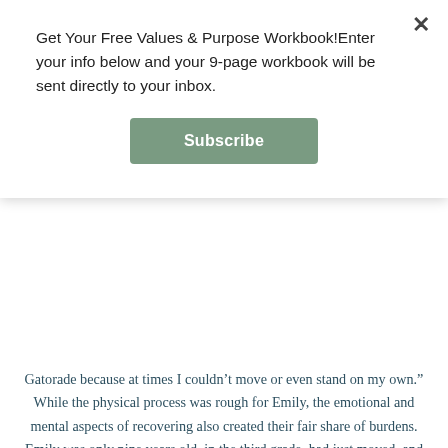Get Your Free Values & Purpose Workbook!Enter your info below and your 9-page workbook will be sent directly to your inbox.
Subscribe
Gatorade because at times I couldn’t move or even stand on my own.” While the physical process was rough for Emily, the emotional and mental aspects of recovering also created their fair share of burdens. Emily was only nine years old, in the third grade, had just moved, and was recovering from having cancer. “So, not only was I the new kid in school - I was the new weird kid that always wore hats or bandannas.” Emily began wearing baseball hats to school as a rebellious way to hide her scar. “I remember one instance where a teacher yelled at me for